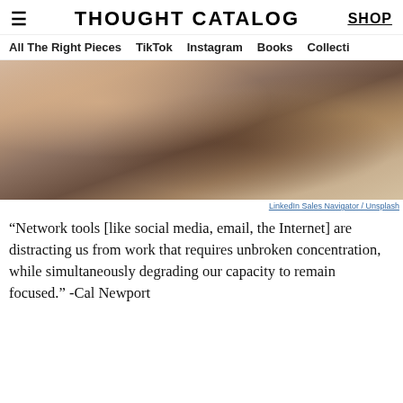THOUGHT CATALOG | SHOP
All The Right Pieces | TikTok | Instagram | Books | Collecti
[Figure (photo): Close-up photo of a person's hands resting on a table, wearing a watch, blurred background with warm tones]
LinkedIn Sales Navigator / Unsplash
“Network tools [like social media, email, the Internet] are distracting us from work that requires unbroken concentration, while simultaneously degrading our capacity to remain focused.” -Cal Newport